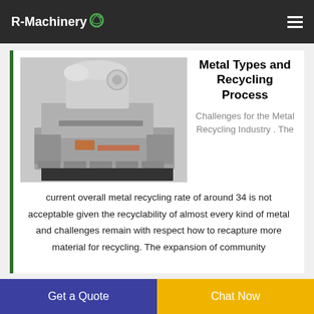R-Machinery
[Figure (photo): Industrial metal recycling machinery, a large white metal shredder/granulator machine with multiple mechanical components.]
Metal Types and Recycling Process
Challenges for the Metal Recycling Industry . The current overall metal recycling rate of around 34 is not acceptable given the recyclability of almost every kind of metal and challenges remain with respect how to recapture more material for recycling. The expansion of community